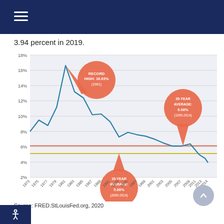3.94 percent in 2019.
[Figure (line-chart): Mortgage Rate History]
Source: FRED.StLouisFed.org, 2020